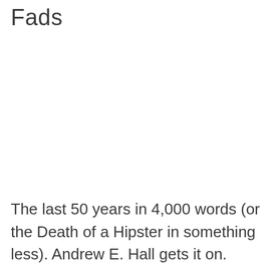Fads
The last 50 years in 4,000 words (or the Death of a Hipster in something less). Andrew E. Hall gets it on.